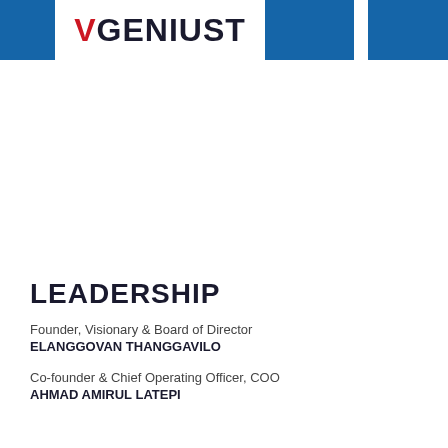[Figure (logo): VGeniust logo with red V and dark blue GENIUST text on white background, flanked by blue header bars]
LEADERSHIP
Founder, Visionary & Board of Director
ELANGGOVAN THANGGAVILO
Co-founder & Chief Operating Officer, COO
AHMAD AMIRUL LATEPI